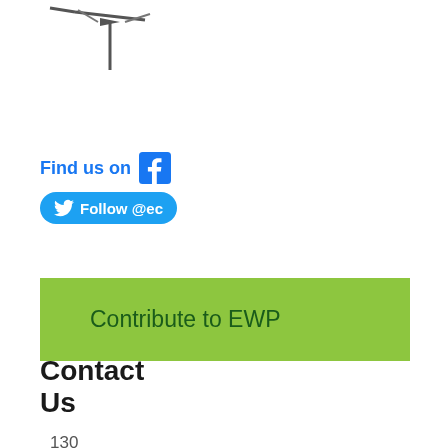[Figure (logo): Partial logo/icon at top — bird or drone silhouette in dark gray]
Find us on [Facebook icon]
Follow @ec [Twitter button]
Contribute to EWP
Contact Us
130 Hendricks Hall 5247 University